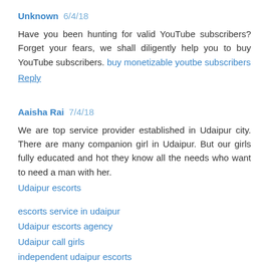Unknown 6/4/18
Have you been hunting for valid YouTube subscribers? Forget your fears, we shall diligently help you to buy YouTube subscribers. buy monetizable youtbe subscribers
Reply
Aaisha Rai 7/4/18
We are top service provider established in Udaipur city. There are many companion girl in Udaipur. But our girls fully educated and hot they know all the needs who want to need a man with her.
Udaipur escorts
escorts service in udaipur
Udaipur escorts agency
Udaipur call girls
independent udaipur escorts
Reply